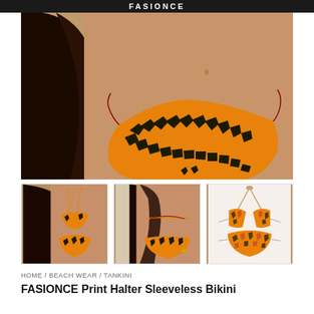FASIONCE
[Figure (photo): Close-up photo of woman's midsection wearing orange and black geometric print bikini bottom with tie sides]
[Figure (photo): Thumbnail 1: Full body shot of woman in orange/black geometric print bikini with strappy top]
[Figure (photo): Thumbnail 2: Back view of woman in orange/black geometric print bikini]
[Figure (photo): Thumbnail 3: Flat lay or model shot of orange/pink geometric print halter bikini set]
HOME / BEACH WEAR / TANKINI
FASIONCE Print Halter Sleeveless Bikini